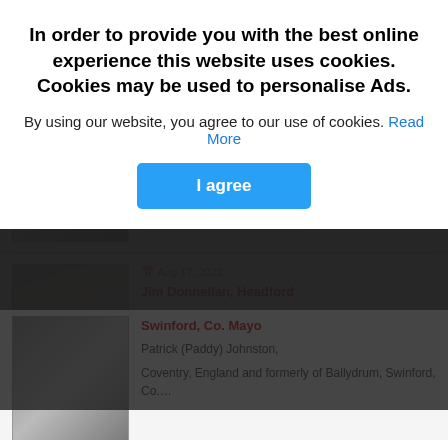[Figure (screenshot): Website obituaries page with cookie consent overlay. Background shows two obituary listings with photos. Top half is darkened behind the cookie modal.]
In order to provide you with the best online experience this website uses cookies. Cookies may be used to personalise Ads.
By using our website, you agree to our use of cookies. Read More
I agree
Swinford, Co. Mayo
Patrick (Paddy) Johnston,
Coventry, England and formerly of Ballydrum, Swinford, Co....
Aug 17, 2022
Jim Donnellan, Headford
Jim Donnellan (Jimmy),
Headford (Donnellans Bus Hire and ex Garda Síochána) -...